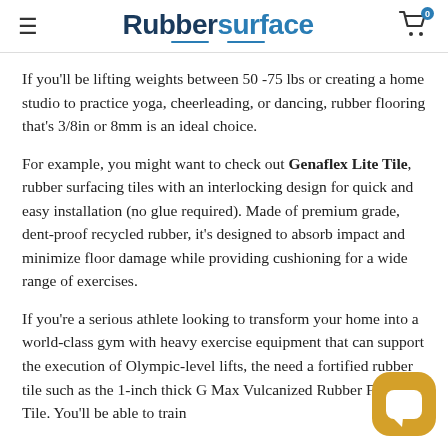Rubbersurface
If you'll be lifting weights between 50 -75 lbs or creating a home studio to practice yoga, cheerleading, or dancing, rubber flooring that's 3/8in or 8mm is an ideal choice.
For example, you might want to check out Genaflex Lite Tile, rubber surfacing tiles with an interlocking design for quick and easy installation (no glue required). Made of premium grade, dent-proof recycled rubber, it's designed to absorb impact and minimize floor damage while providing cushioning for a wide range of exercises.
If you're a serious athlete looking to transform your home into a world-class gym with heavy exercise equipment that can support the execution of Olympic-level lifts, the need a fortified rubber tile such as the 1-inch thick G Max Vulcanized Rubber Floor Tile. You'll be able to train